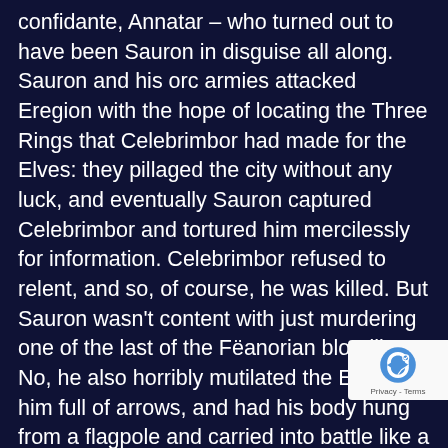confidante, Annatar – who turned out to have been Sauron in disguise all along. Sauron and his orc armies attacked Eregion with the hope of locating the Three Rings that Celebrimbor had made for the Elves: they pillaged the city without any luck, and eventually Sauron captured Celebrimbor and tortured him mercilessly for information. Celebrimbor refused to relent, and so, of course, he was killed. But Sauron wasn't content with just murdering one of the last of the Fëanorian bloodline. No, he also horribly mutilated the Elf, shot him full of arrows, and had his body hung from a flagpole and carried into battle like a banner by his orc army. That's straight out of Game Of Thrones right there, and is almost certain to land the show a TV-MA rating no matter what. As for Gil-galad, last High King of the Noldor, he was apparently burned alive by the fiery heat of Sauron's hand during their duel on the slopes of Mount Doom. And Anarion...well, he got his whole bashed in by a rock thrown from the parapets of Barad
[Figure (other): reCAPTCHA badge with robot icon and Privacy - Terms text]